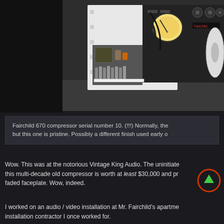[Figure (photo): Fairchild 670 compressor audio equipment photographed from the side, showing internal components including vacuum tubes, wiring, transformers, and the front panel with VU meter and knobs. Serial number 10 unit.]
Fairchild 670 compressor serial number 10. (!!!) Normally, the but this one is pristine. Possibly a different finish used early o
Wow. This was at the notorious Vintage King Audio. The uninitiate this multi-decade old compressor is worth at least $30,000 and pr faded faceplate. Wow, indeed.
I worked on an audio / video installation at Mr. Fairchild's apartme installation contractor I once worked for.